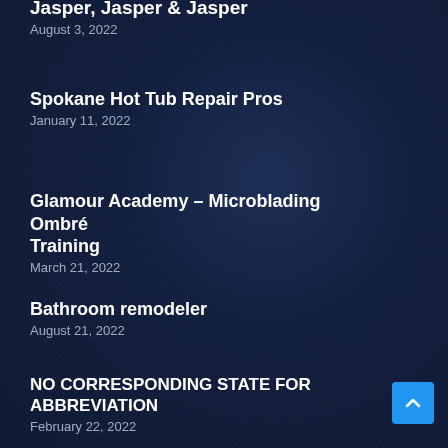Spokane Hot Tub Repair Pros
January 11, 2022
Glamour Academy – Microblading Ombré Training
March 21, 2022
Bathroom remodeler
August 21, 2022
NO CORRESPONDING STATE FOR ABBREVIATION
February 22, 2022